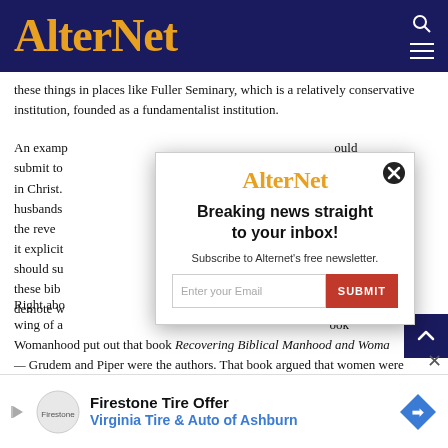AlterNet
these things in places like Fuller Seminary, which is a relatively conservative institution, founded as a fundamentalist institution.
An example... should submit to... another in Christ... says husbands... that the reve... when it explicitly... that men should su... And these bib... sed to demote w...
[Figure (screenshot): AlterNet newsletter subscription modal popup with logo, headline 'Breaking news straight to your inbox!', subtext 'Subscribe to Alternet's free newsletter.', email input field and red SUBMIT button, with close X button]
Right about... ervative wing of a... book Recovering Biblical Manhood and Womanhood — Grudem and Piper were the authors. That book argued that women were to be in submission to men, not just in marriage and the family, but in every aspect in society. They said it was unbiblical for women to be in positions of authority in the work world where they had authority over men, so there was a substantial backlash against this biblical feminism.
[Figure (infographic): Advertisement banner: Firestone Tire Offer - Virginia Tire & Auto of Ashburn]